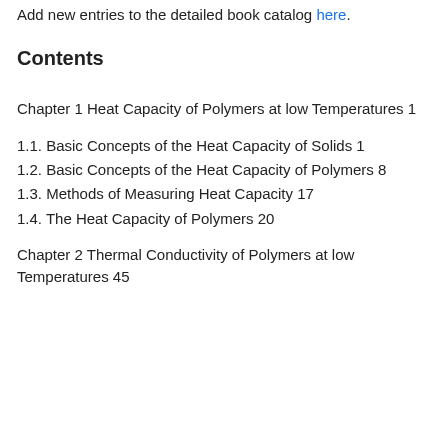Add new entries to the detailed book catalog here.
Contents
Chapter 1 Heat Capacity of Polymers at low Temperatures 1
1.1. Basic Concepts of the Heat Capacity of Solids 1
1.2. Basic Concepts of the Heat Capacity of Polymers 8
1.3. Methods of Measuring Heat Capacity 17
1.4. The Heat Capacity of Polymers 20
Chapter 2 Thermal Conductivity of Polymers at low Temperatures 45